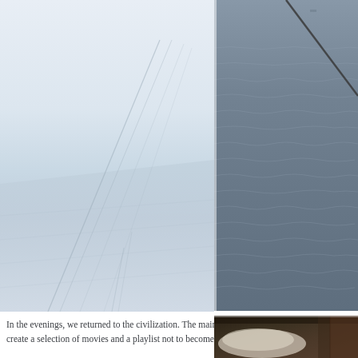[Figure (photo): Washed-out pale photo of a sailboat deck viewed from above, showing ropes and rigging lines against a light grey-white sky and choppy grey sea in the background. The image is very light/overexposed.]
[Figure (photo): Photo of open ocean with dark blue-grey choppy waves, taken from a boat. A diagonal rope or wire crosses the upper right corner. A vessel is faintly visible on the horizon.]
In the evenings, we returned to the civilization. The main reason was to create a selection of movies and a playlist not to become too wild...
[Figure (photo): Dark interior photo, partially visible at bottom right of page, showing what appears to be bedding or fabric in a dimly lit cabin interior.]